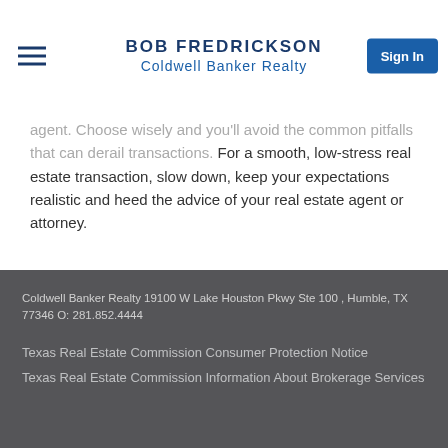BOB FREDRICKSON
Coldwell Banker Realty
agent. Choose wisely and you'll avoid the common pitfalls that can derail transactions. For a smooth, low-stress real estate transaction, slow down, keep your expectations realistic and heed the advice of your real estate agent or attorney.
Coldwell Banker Realty 19100 W Lake Houston Pkwy Ste 100 , Humble, TX 77346 O: 281.852.4444
Texas Real Estate Commission Consumer Protection Notice
Texas Real Estate Commission Information About Brokerage Services